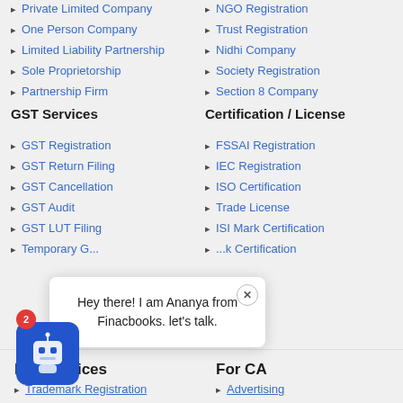Private Limited Company
NGO Registration
One Person Company
Trust Registration
Limited Liability Partnership
Nidhi Company
Sole Proprietorship
Society Registration
Partnership Firm
Section 8 Company
GST Services
Certification / License
GST Registration
FSSAI Registration
GST Return Filing
IEC Registration
GST Cancellation
ISO Certification
GST Audit
Trade License
GST LUT Filing
ISI Mark Certification
Temporary G...
...k Certification
IPR Services
For CA
Trademark Registration
Advertising